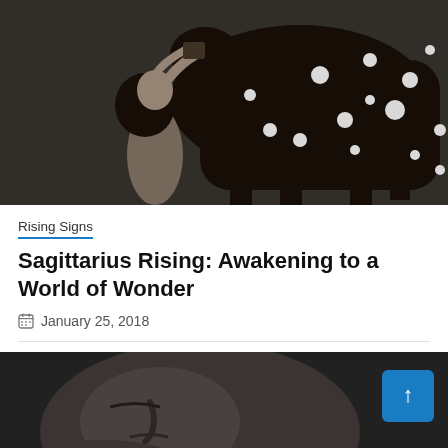[Figure (photo): Black and white surreal artwork showing a woman with dark hair reaching up toward a dark horse or deer figure covered in white spots/stars against a grey background.]
Rising Signs
Sagittarius Rising: Awakening to a World of Wonder
January 25, 2018
[Figure (photo): Black and white close-up photograph of a person's face resting, with a blue scroll-to-top button in the lower-right corner.]